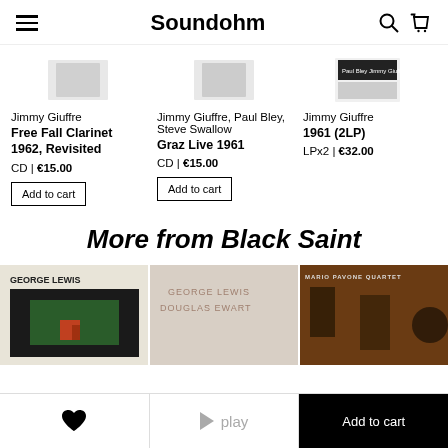Soundohm
Jimmy Giuffre
Free Fall Clarinet 1962, Revisited
CD | €15.00
Jimmy Giuffre, Paul Bley, Steve Swallow
Graz Live 1961
CD | €15.00
Jimmy Giuffre
1961 (2LP)
LPx2 | €32.00
More from Black Saint
[Figure (photo): George Lewis album cover - landscape with barn]
[Figure (photo): George Lewis Douglas Ewart album cover]
[Figure (photo): Mario Pavone quartet album photo - jazz musicians on stage]